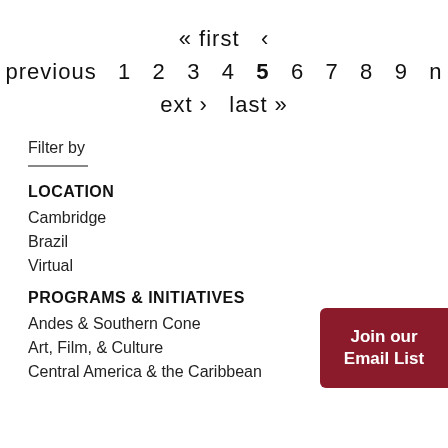« first  ‹  previous  1  2  3  4  5  6  7  8  9  next ›  last »
Filter by
LOCATION
Cambridge
Brazil
Virtual
PROGRAMS & INITIATIVES
Andes & Southern Cone
Art, Film, & Culture
Central America & the Caribbean
[Figure (other): Join our Email List button (dark red)]